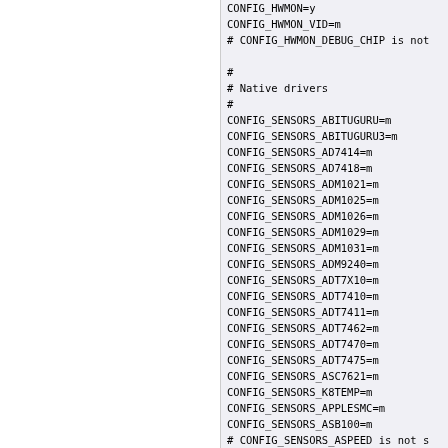CONFIG_HWMON=y
CONFIG_HWMON_VID=m
# CONFIG_HWMON_DEBUG_CHIP is not
#
# Native drivers
#
CONFIG_SENSORS_ABITUGURU=m
CONFIG_SENSORS_ABITUGURU3=m
CONFIG_SENSORS_AD7414=m
CONFIG_SENSORS_AD7418=m
CONFIG_SENSORS_ADM1021=m
CONFIG_SENSORS_ADM1025=m
CONFIG_SENSORS_ADM1026=m
CONFIG_SENSORS_ADM1029=m
CONFIG_SENSORS_ADM1031=m
CONFIG_SENSORS_ADM9240=m
CONFIG_SENSORS_ADT7X10=m
CONFIG_SENSORS_ADT7410=m
CONFIG_SENSORS_ADT7411=m
CONFIG_SENSORS_ADT7462=m
CONFIG_SENSORS_ADT7470=m
CONFIG_SENSORS_ADT7475=m
CONFIG_SENSORS_ASC7621=m
CONFIG_SENSORS_K8TEMP=m
CONFIG_SENSORS_APPLESMC=m
CONFIG_SENSORS_ASB100=m
# CONFIG_SENSORS_ASPEED is not s
CONFIG_SENSORS_ATXP1=m
CONFIG_SENSORS_DS620=m
CONFIG_SENSORS_DS1621=m
CONFIG_SENSORS_DELL_SMM=m